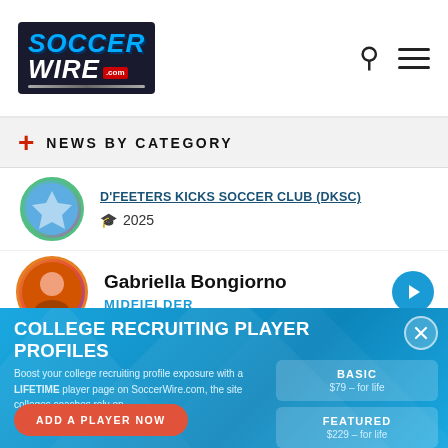[Figure (logo): SoccerWire.com logo with search and menu icons in header]
NEWS BY CATEGORY
D'FEETERS KICKS SOCCER CLUB (DKSC)
2025
Gabriella Bongiorno
MIDFIELDER
COLLEGE RECRUITING PLAYER PROFILES
Boost your college recruiting profile exposure with a LIFETIME player page on SoccerWire.com, the site colleges coaches rely on.
| Plan | Price |
| --- | --- |
| BASIC | $79 – for life |
| FEATURED | $229 – for life |
| FEATURED PLUS | $349 – for life |
ADD A PLAYER NOW